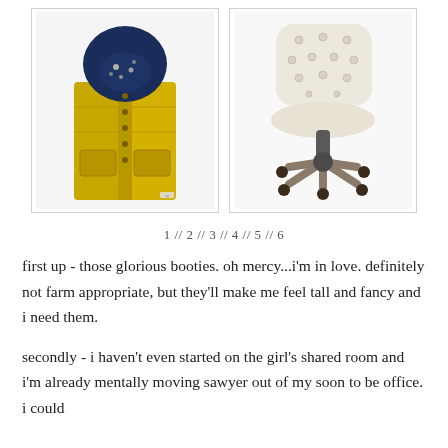[Figure (photo): Yellow Patagonia puffer vest with navy blue hood]
[Figure (photo): Cream tufted office chair with wooden base and wheels]
1 // 2 // 3 // 4 // 5 // 6
first up - those glorious booties. oh mercy...i'm in love. definitely not farm appropriate, but they'll make me feel tall and fancy and i need them.
secondly - i haven't even started on the girl's shared room and i'm already mentally moving sawyer out of my soon to be office. i could